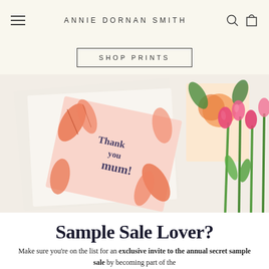ANNIE DORNAN SMITH
SHOP PRINTS
[Figure (photo): Flat lay photo of a 'Thank you mum!' greeting card with tropical pink and orange leaf design, resting on a white envelope, alongside pink tulips and another floral illustrated card on a light background.]
Sample Sale Lover?
Make sure you're on the list for an exclusive invite to the annual secret sample sale by becoming part of the